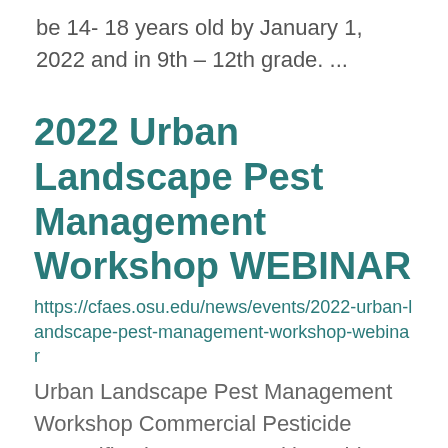be 14- 18 years old by January 1, 2022 and in 9th – 12th grade. ...
2022 Urban Landscape Pest Management Workshop WEBINAR
https://cfaes.osu.edu/news/events/2022-urban-landscape-pest-management-workshop-webinar
Urban Landscape Pest Management Workshop Commercial Pesticide Recertification Sponsored by: Ohio State University Extension and Ohio Department of Agriculture September 28, 2022 Online Webinar    Menu Conference Information Agenda Registration Informat